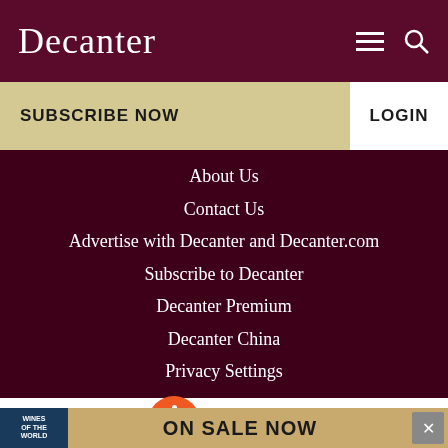Decanter
SUBSCRIBE NOW
LOGIN
About Us
Contact Us
Advertise with Decanter and Decanter.com
Subscribe to Decanter
Decanter Premium
Decanter China
Privacy Settings
[Figure (logo): IAB UK badge - orange circle logo]
[Figure (logo): DTSG JIC WEBS UK Brand Safety certification badge]
[Figure (logo): ABC audit badge - red rectangle]
[Figure (screenshot): Ad banner: Wines of the World magazine cover with ON SALE NOW text]